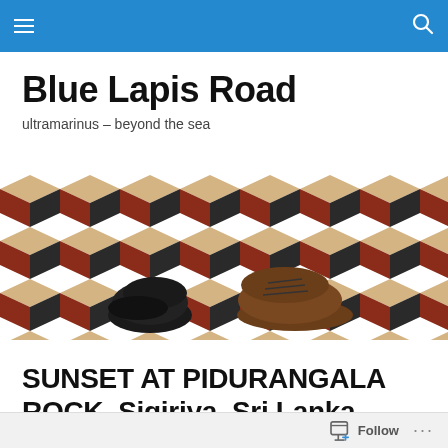Blue Lapis Road — navigation bar
Blue Lapis Road
ultramarinus – beyond the sea
[Figure (photo): Two pairs of feet/shoes standing on a geometric 3D cube-pattern tile floor in red, black, and beige colors. One pair wears black dress shoes, the other brown hiking boots.]
SUNSET AT PIDURANGALA ROCK, Sigiriya, Sri Lanka, 2019.12.08
Follow